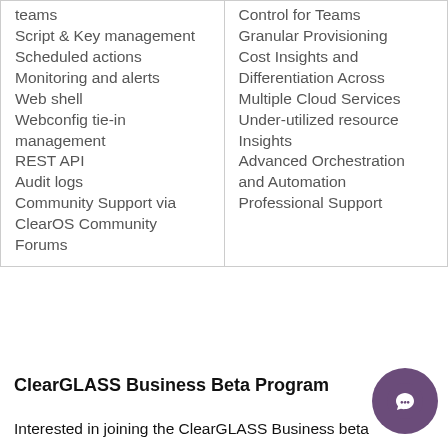| teams
Script & Key management
Scheduled actions
Monitoring and alerts
Web shell
Webconfig tie-in management
REST API
Audit logs
Community Support via ClearOS Community Forums | Control for Teams
Granular Provisioning
Cost Insights and Differentiation Across Multiple Cloud Services
Under-utilized resource Insights
Advanced Orchestration and Automation
Professional Support |
ClearGLASS Business Beta Program
Interested in joining the ClearGLASS Business beta